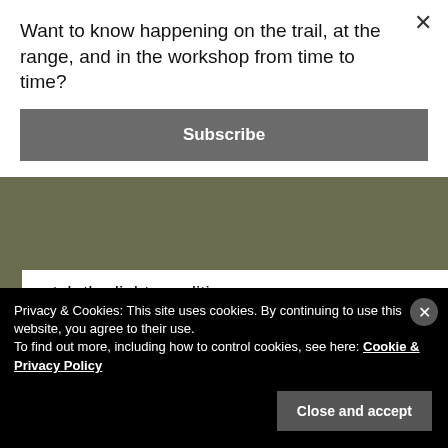Want to know happening on the trail, at the range, and in the workshop from time to time?
Subscribe
match the light conditions.
I have absolutely no reservations about this gun's reliability.
Privacy & Cookies: This site uses cookies. By continuing to use this website, you agree to their use.
To find out more, including how to control cookies, see here: Cookie & Privacy Policy
Close and accept